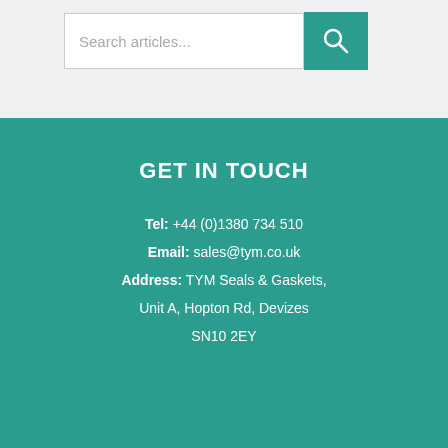[Figure (screenshot): Search bar with text input placeholder 'Search articles...' and a teal search button with magnifying glass icon]
GET IN TOUCH
Tel: +44 (0)1380 734 510
Email: sales@tym.co.uk
Address: TYM Seals & Gaskets, Unit A, Hopton Rd, Devizes SN10 2EY